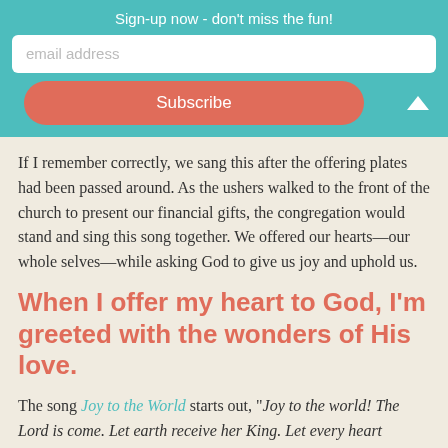Sign-up now - don't miss the fun!
email address
Subscribe
If I remember correctly, we sang this after the offering plates had been passed around. As the ushers walked to the front of the church to present our financial gifts, the congregation would stand and sing this song together. We offered our hearts—our whole selves—while asking God to give us joy and uphold us.
When I offer my heart to God, I'm greeted with the wonders of His love.
The song Joy to the World starts out, "Joy to the world! The Lord is come. Let earth receive her King. Let every heart